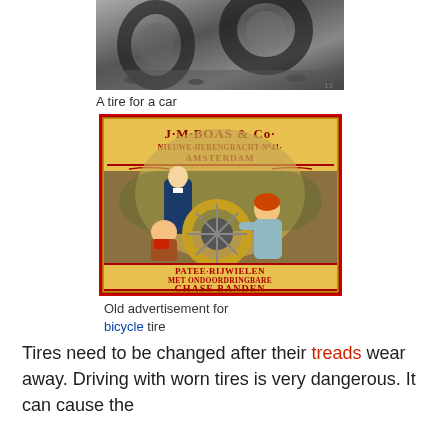[Figure (photo): Black and white photograph of a tire for a car, shown among debris/ground]
A tire for a car
[Figure (illustration): Old advertisement poster for J.M. Boas & Co., Amsterdam. Shows figures working on a bicycle tire. Text reads: J.M. BOAS & CO. NIEUWE-HERENGRACHT N41. AMSTERDAM. PATEE-RIJWIELEN MET ONDOORDRINGBARE CHASE BANDEN]
Old advertisement for bicycle tire
Tires need to be changed after their treads wear away. Driving with worn tires is very dangerous. It can cause the tires to explode and the driver to be in an accident.